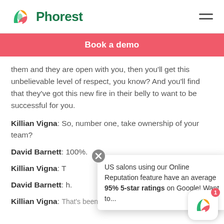[Figure (logo): Phorest logo with colorful P icon and green Phorest wordmark, hamburger menu icon on right]
Book a demo
them and they are open with you, then you'll get this unbelievable level of respect, you know? And you'll find that they've got this new fire in their belly to want to be successful for you.
Killian Vigna: So, number one, take ownership of your team?
David Barnett: 100%.
Killian Vigna: T...
David Barnett: ...h.
Killian Vigna: That's been absolutely brilliant, David.
US salons using our Online Reputation feature have an average 95% 5-star ratings on Google! Want to...